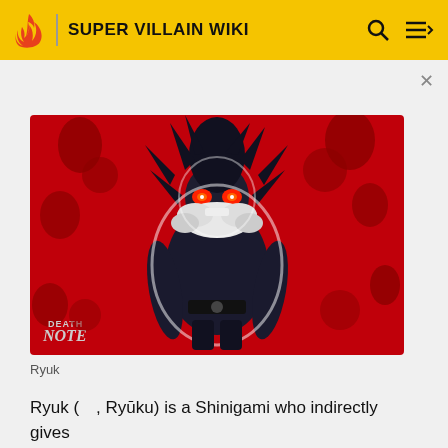SUPER VILLAIN WIKI
[Figure (illustration): Ryuk from Death Note anime - a tall dark Shinigami character with wild black hair, glowing red eyes, wearing dark clothing, standing in a menacing pose against a red background with handprints. Death Note logo in lower left corner.]
Ryuk
Ryuk (　, Ryūku) is a Shinigami who indirectly gives